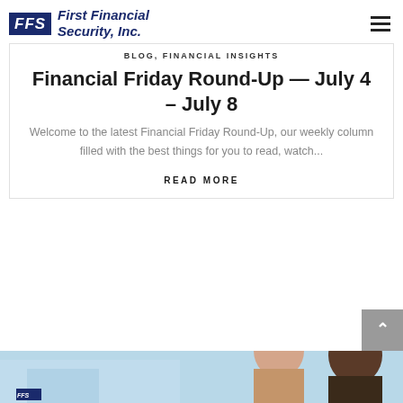FFS First Financial Security, Inc.
BLOG, FINANCIAL INSIGHTS
Financial Friday Round-Up — July 4 – July 8
Welcome to the latest Financial Friday Round-Up, our weekly column filled with the best things for you to read, watch...
READ MORE
[Figure (photo): Partial view of a photo showing two people in a professional setting with a light blue background, partially cropped at the bottom of the page.]